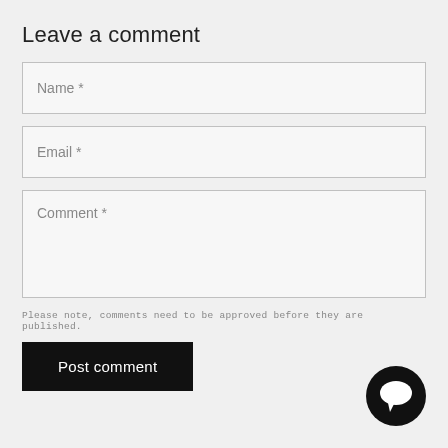Leave a comment
Name *
Email *
Comment *
Please note, comments need to be approved before they are published.
Post comment
[Figure (illustration): Chat bubble icon, black circle with white speech bubble symbol]